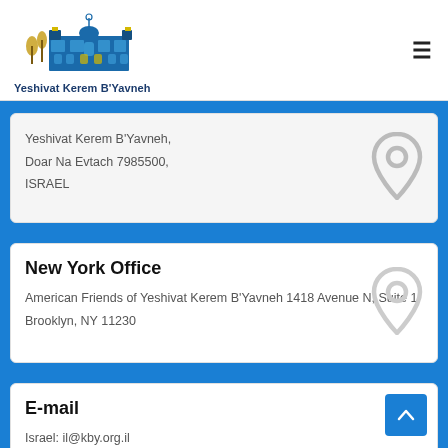[Figure (logo): Yeshivat Kerem B'Yavneh logo with building illustration]
Yeshivat Kerem B'Yavneh
Yeshivat Kerem B'Yavneh,
Doar Na Evtach 7985500,
ISRAEL
New York Office
American Friends of Yeshivat Kerem B'Yavneh 1418 Avenue N, Suite 1
Brooklyn, NY 11230
E-mail
Israel: il@kby.org.il